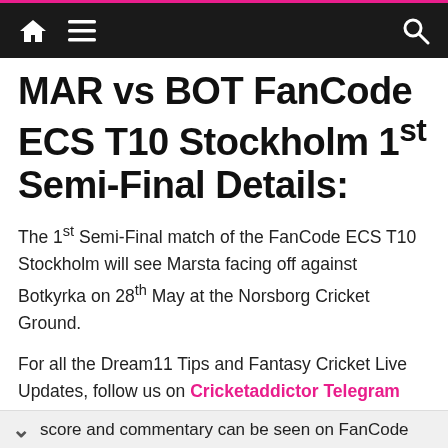MAR vs BOT FanCode ECS T10 Stockholm 1st Semi-Final Details:
MAR vs BOT FanCode ECS T10 Stockholm 1st Semi-Final Details:
The 1st Semi-Final match of the FanCode ECS T10 Stockholm will see Marsta facing off against Botkyrka on 28th May at the Norsborg Cricket Ground.
For all the Dream11 Tips and Fantasy Cricket Live Updates, follow us on Cricketaddictor Telegram Channel.
This game is scheduled to start at 12:30 PM IST and score and commentary can be seen on FanCode